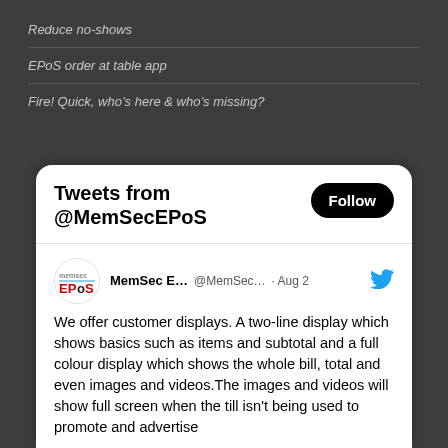Reduce no-shows
EPoS order at table app
Fire! Quick, who's here & who's missing?
[Figure (screenshot): Twitter widget showing tweets from @MemSecEPoS with a Follow button and a tweet from MemSec E... @MemSec... dated Aug 2 about customer displays.]
We offer customer displays. A two-line display which shows basics such as items and subtotal and a full colour display which shows the whole bill, total and even images and videos.The images and videos will show full screen when the till isn't being used to promote and advertise